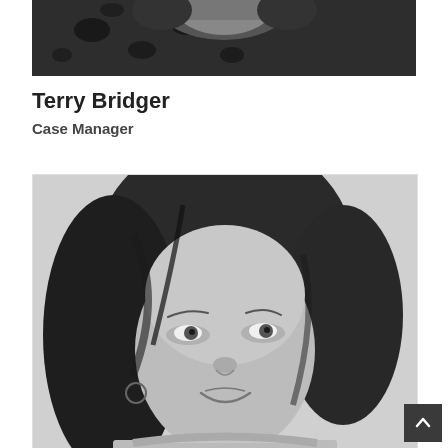[Figure (photo): Black and white partial photo of a person in a leopard print top, cropped at top of page]
Terry Bridger
Case Manager
[Figure (photo): Black and white portrait photo of a young woman with wavy hair, looking slightly upward, smiling gently]